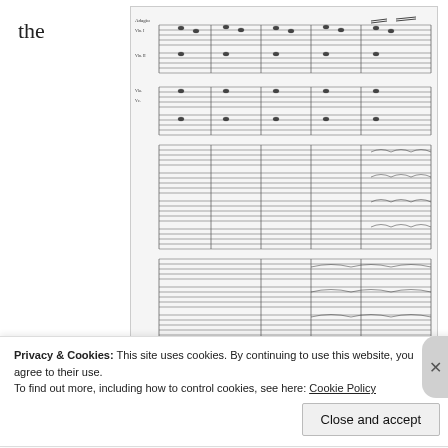the
[Figure (illustration): Sheet music score excerpt of Ralph Vaughan Williams Fantasia on Greensleeves, measures 32-44, showing multiple orchestral parts with tremolo notation.]
Ralph Vaughan Williams: Fantasia on “Greensleeves” (32-44)
interesting features of this tremolo section is that the violins only play open fifths, even as the lines descend
Privacy & Cookies: This site uses cookies. By continuing to use this website, you agree to their use.
To find out more, including how to control cookies, see here: Cookie Policy
Close and accept